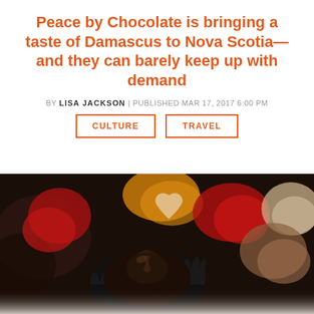Peace by Chocolate is bringing a taste of Damascus to Nova Scotia—and they can barely keep up with demand
BY LISA JACKSON | PUBLISHED MAR 17, 2017 6:00 PM
CULTURE
TRAVEL
[Figure (photo): Close-up photo of assorted chocolates in colorful wrappers (black, red, yellow, white). In the foreground, a dark chocolate rose-shaped piece is held in a black ruffled paper cup, with other chocolates blurred in the background.]